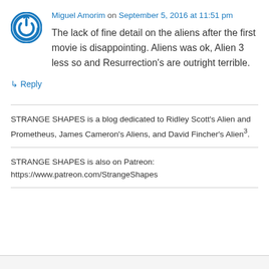[Figure (logo): Blue circular power/reload icon avatar for commenter Miguel Amorim]
Miguel Amorim on September 5, 2016 at 11:51 pm
The lack of fine detail on the aliens after the first movie is disappointing. Aliens was ok, Alien 3 less so and Resurrection's are outright terrible.
↳ Reply
STRANGE SHAPES is a blog dedicated to Ridley Scott's Alien and Prometheus, James Cameron's Aliens, and David Fincher's Alien³.
STRANGE SHAPES is also on Patreon:
https://www.patreon.com/StrangeShapes